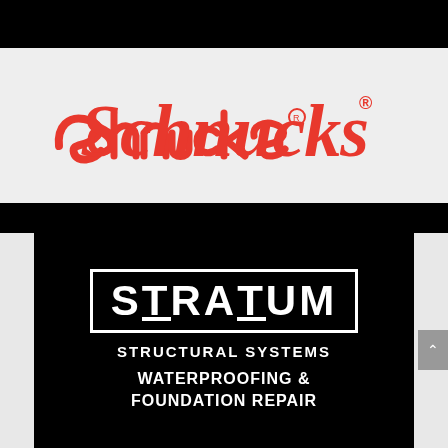[Figure (logo): Schnucks grocery store logo in red italic script font with registered trademark symbol]
[Figure (logo): Stratum Structural Systems logo on black background with white bordered box containing STRATUM in large white stylized text, STRUCTURAL SYSTEMS below, and WATERPROOFING & FOUNDATION REPAIR tagline]